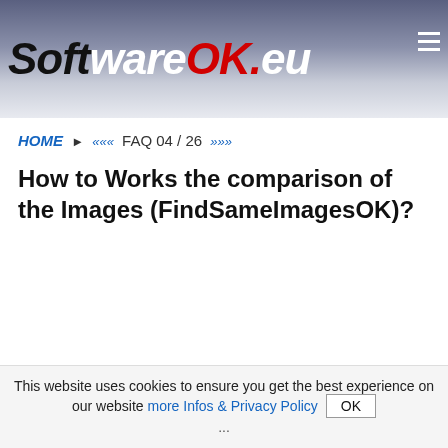[Figure (logo): SoftwareOK.eu logo on blue-grey gradient banner header with hamburger menu icon]
HOME ► ««« FAQ 04 / 26 »»»
How to Works the comparison of the Images (FindSameImagesOK)?
This website uses cookies to ensure you get the best experience on our website more Infos & Privacy Policy OK